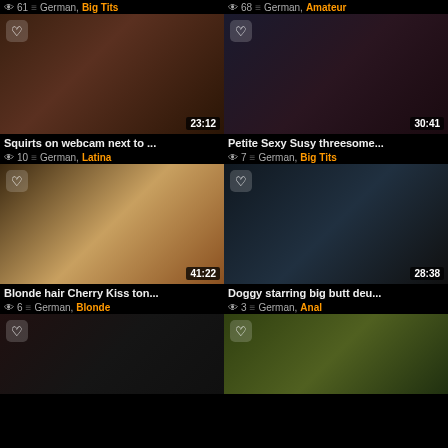61 views — German, Big Tits
[Figure (screenshot): Video thumbnail - duration 23:12]
Squirts on webcam next to ...
10 views — German, Latina
68 views — German, Amateur
[Figure (screenshot): Video thumbnail - duration 30:41]
Petite Sexy Susy threesome...
7 views — German, Big Tits
[Figure (screenshot): Video thumbnail - duration 41:22]
Blonde hair Cherry Kiss ton...
6 views — German, Blonde
[Figure (screenshot): Video thumbnail - duration 28:38]
Doggy starring big butt deu...
3 views — German, Anal
[Figure (screenshot): Video thumbnail - partial, bottom row left]
[Figure (screenshot): Video thumbnail - partial, bottom row right]